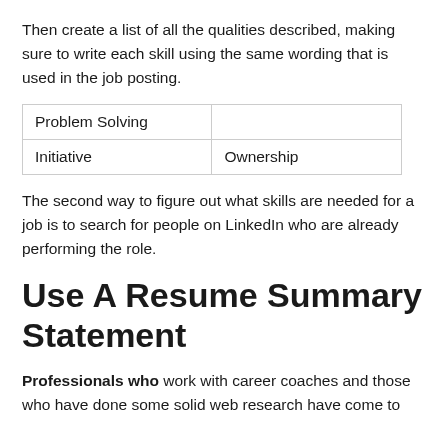Then create a list of all the qualities described, making sure to write each skill using the same wording that is used in the job posting.
| Problem Solving |  |
| Initiative | Ownership |
The second way to figure out what skills are needed for a job is to search for people on LinkedIn who are already performing the role.
Use A Resume Summary Statement
Professionals who work with career coaches and those who have done some solid web research have come to